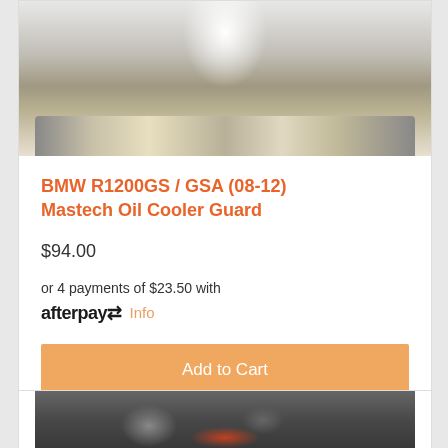[Figure (photo): Close-up photo of a BMW motorcycle oil cooler guard, showing chrome and metallic details from above]
BMW R1200GS / GSA (08-12) Mastech Oil Cooler Guard
$94.00
or 4 payments of $23.50 with afterpay Info
Add to Cart
[Figure (photo): Partial photo of a motorcycle engine/frame, showing dark mechanical components]